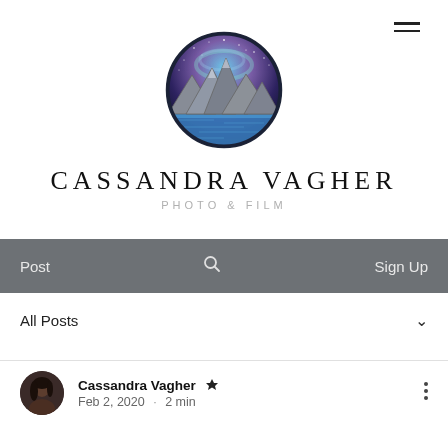[Figure (logo): Circular logo with mountain landscape under a starry night sky with blue/purple aurora, dark border]
CASSANDRA VAGHER
PHOTO & FILM
Post  [search icon]  Sign Up
All Posts
Cassandra Vagher [crown icon]  Feb 2, 2020 · 2 min